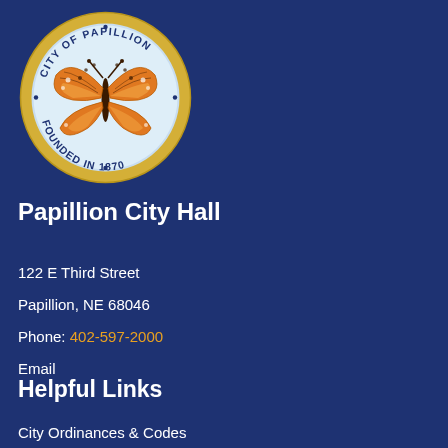[Figure (logo): City of Papillion seal with a monarch butterfly in the center, circular gold border with text 'CITY OF PAPILLION • FOUNDED IN 1870 •']
Papillion City Hall
122 E Third Street
Papillion, NE 68046
Phone: 402-597-2000
Email
Helpful Links
City Ordinances & Codes